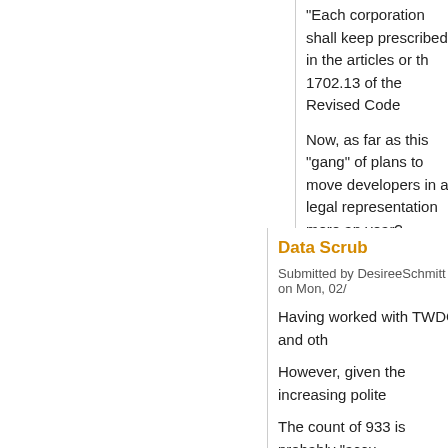"Each corporation shall keep prescribed in the articles or th 1702.13 of the Revised Code
Now, as far as this "gang" of plans to move developers in a legal representation more an year?  Everybody wants to kr
Login to post comments
Data Scrub
Submitted by DesireeSchmitt on Mon, 02/
Having worked with TWDC and oth
However, given the increasing polite
The count of 933 is probably "accu
There is no exit or opt out guideline
Exit and opt out can mean someon